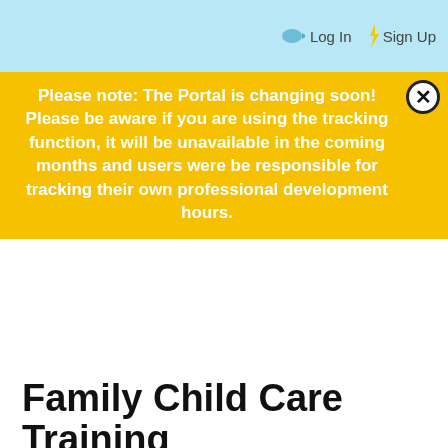Log In  Sign Up
Please note: The Portal is changing soon! Please be aware if you are using the tracking function, it will be unavailable in the coming months and users were be responsible for tracking their own professional development hours.
Family Child Care Training
Victoria CCRR  |  Comments Off  |